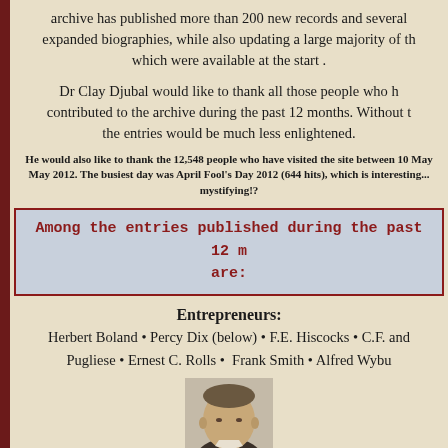archive has published more than 200 new records and several expanded biographies, while also updating a large majority of those which were available at the start .
Dr Clay Djubal would like to thank all those people who have contributed to the archive during the past 12 months. Without them the entries would be much less enlightened.
He would also like to thank the 12,548 people who have visited the site between 10 May and May 2012. The busiest day was April Fool's Day 2012 (644 hits), which is interesting... mystifying!?
Among the entries published during the past 12 months are:
Entrepreneurs:
Herbert Boland • Percy Dix (below) • F.E. Hiscocks • C.F. and Pugliese • Ernest C. Rolls • Frank Smith • Alfred Wybu
[Figure (photo): Black and white portrait photograph of a man]